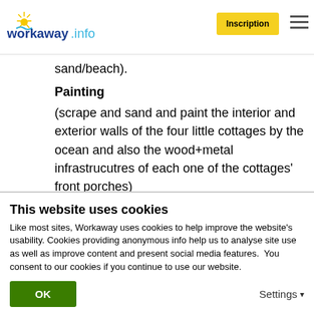workaway.info — Inscription
sand/beach).
Painting
(scrape and sand and paint the interior and exterior walls of the four little cottages by the ocean and also the wood+metal infrastrucutres of each one of the cottages' front porches)
Cleaning
(sweeping and brushing the concrete paths and stairs/steps between the cottages and also the concrete floors of the front porches and general
This website uses cookies
Like most sites, Workaway uses cookies to help improve the website's usability. Cookies providing anonymous info help us to analyse site use as well as improve content and present social media features.  You consent to our cookies if you continue to use our website.
OK    Settings